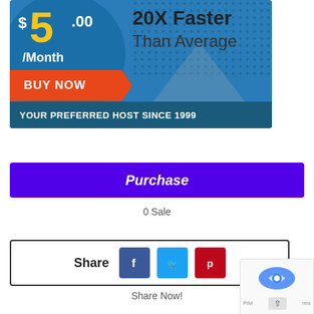[Figure (infographic): Web hosting advertisement banner: '$5.00/Month' price in yellow and white on blue circle background, '20X Faster Than Average' text, red 'BUY NOW' ribbon, dots pattern, dark blue bottom bar reading 'YOUR PREFERRED HOST SINCE 1999']
Purchase
0 Sale
Share
Share Now!